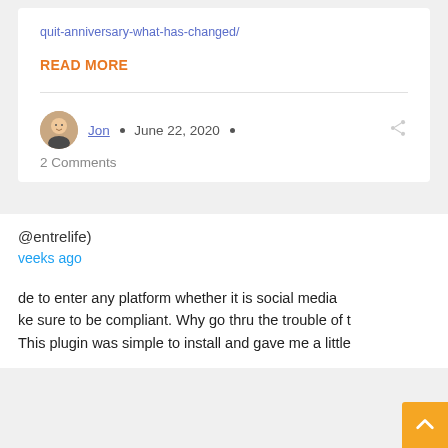quit-anniversary-what-has-changed/
READ MORE
Jon • June 22, 2020 •
2 Comments
@entrelife)
veeks ago
de to enter any platform whether it is social media ke sure to be compliant. Why go thru the trouble of t This plugin was simple to install and gave me a little